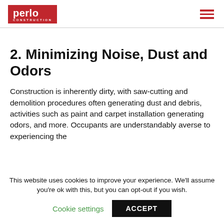perlo CONSTRUCTION
2. Minimizing Noise, Dust and Odors
Construction is inherently dirty, with saw-cutting and demolition procedures often generating dust and debris, activities such as paint and carpet installation generating odors, and more. Occupants are understandably averse to experiencing the
This website uses cookies to improve your experience. We'll assume you're ok with this, but you can opt-out if you wish. Cookie settings ACCEPT